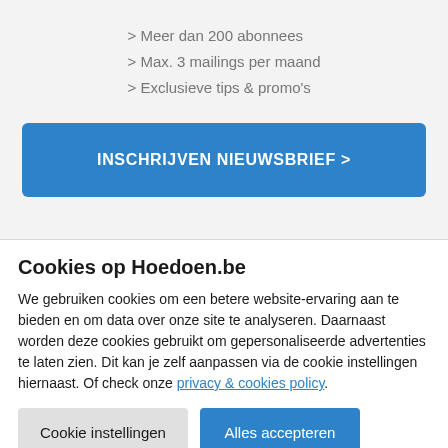> Meer dan 200 abonnees
> Max. 3 mailings per maand
> Exclusieve tips & promo's
INSCHRIJVEN NIEUWSBRIEF >
Cookies op Hoedoen.be
We gebruiken cookies om een betere website-ervaring aan te bieden en om data over onze site te analyseren. Daarnaast worden deze cookies gebruikt om gepersonaliseerde advertenties te laten zien. Dit kan je zelf aanpassen via de cookie instellingen hiernaast. Of check onze privacy & cookies policy.
Cookie instellingen
Alles accepteren